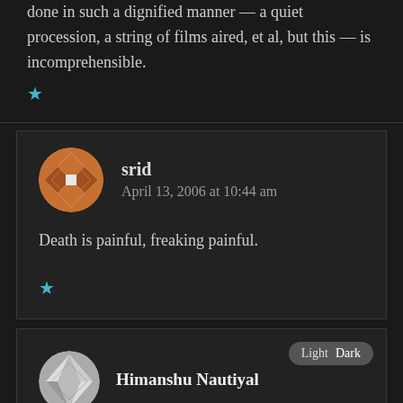done in such a dignified manner — a quiet procession, a string of films aired, et al, but this — is incomprehensible.
★
srid
April 13, 2006 at 10:44 am
Death is painful, freaking painful.
★
Himanshu Nautiyal